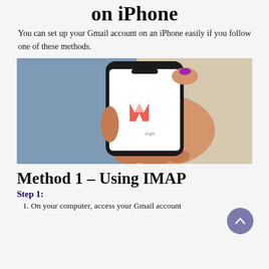on iPhone
You can set up your Gmail account on an iPhone easily if you follow one of these methods.
[Figure (photo): Person holding an iPhone displaying the Gmail logo (red M) with brightly painted pink and purple nails, wearing jeans, against a neutral background.]
Method 1 – Using IMAP
Step 1:
1. On your computer, access your Gmail account